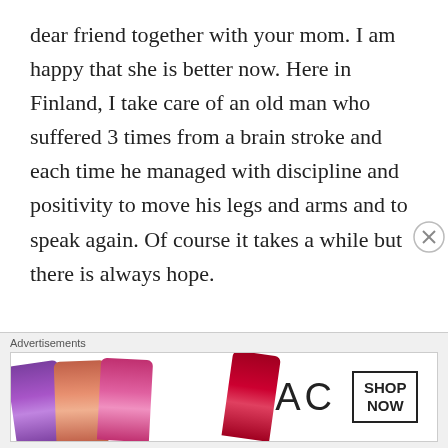dear friend together with your mom. I am happy that she is better now. Here in Finland, I take care of an old man who suffered 3 times from a brain stroke and each time he managed with discipline and positivity to move his legs and arms and to speak again. Of course it takes a while but there is always hope.

Sunny greetings from hot Finland (we get today 33 degrees Celsius)
Hugs and love.
Advertisements
[Figure (illustration): MAC cosmetics advertisement banner showing colorful lipsticks on the left, MAC logo in the center, and a SHOP NOW button box on the right]